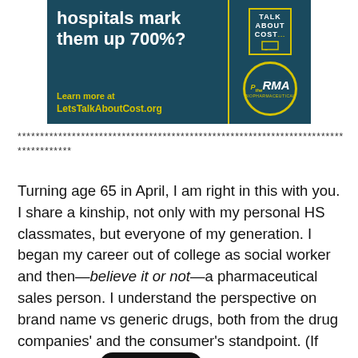[Figure (infographic): Advertisement banner with dark teal background. Left side shows bold white text 'hospitals mark them up 700%?' with yellow text 'Learn more at LetsTalkAboutCost.org'. Right side has a box with 'TALK ABOUT COST' and a circle logo with 'PhRMA' branding.]
************************************************************************
************
Turning age 65 in April, I am right in this with you. I share a kinship, not only with my personal HS classmates, but everyone of my generation. I began my career out of college as social worker and then—believe it or not—a pharmaceutical sales person. I understand the perspective on brand name vs generic drugs, both from the drug companies’ and the consumer’s standpoint. (If you’d like to [REDACTED] is with you, off the record, please call me.) [REDACTED] I still like to help people and I get great satisfaction from